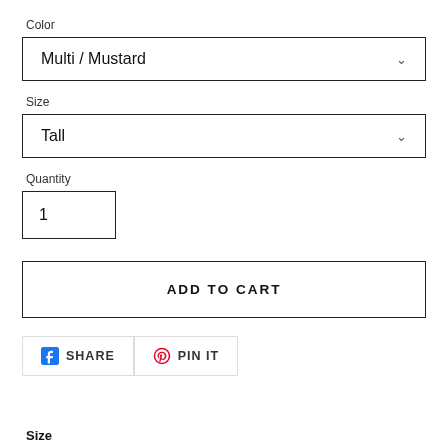Color
Multi / Mustard
Size
Tall
Quantity
1
ADD TO CART
SHARE
PIN IT
Size